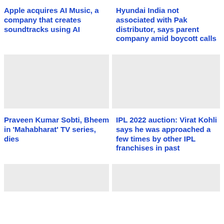Apple acquires AI Music, a company that creates soundtracks using AI
Hyundai India not associated with Pak distributor, says parent company amid boycott calls
[Figure (photo): Placeholder image for Apple acquires AI Music article]
[Figure (photo): Placeholder image for Hyundai India article]
Praveen Kumar Sobti, Bheem in 'Mahabharat' TV series, dies
IPL 2022 auction: Virat Kohli says he was approached a few times by other IPL franchises in past
[Figure (photo): Placeholder image bottom left]
[Figure (photo): Placeholder image bottom right]